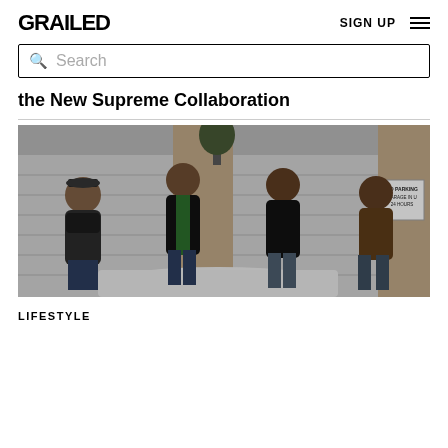GRAILED  SIGN UP ☰
Search
the New Supreme Collaboration
[Figure (photo): Four young men wearing streetwear and jackets, leaning against a white car in front of garage doors with a 'NO PARKING GARAGE IN USE 24 HOURS' sign in the background.]
LIFESTYLE